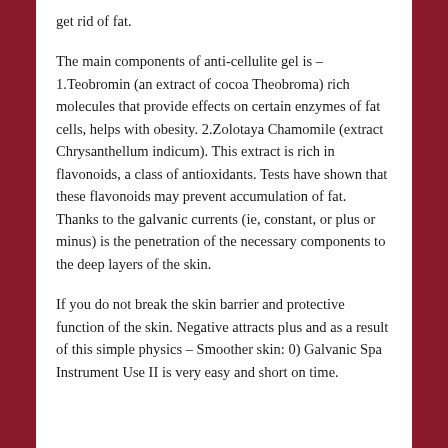get rid of fat.
The main components of anti-cellulite gel is – 1.Teobromin (an extract of cocoa Theobroma) rich molecules that provide effects on certain enzymes of fat cells, helps with obesity. 2.Zolotaya Chamomile (extract Chrysanthellum indicum). This extract is rich in flavonoids, a class of antioxidants. Tests have shown that these flavonoids may prevent accumulation of fat. Thanks to the galvanic currents (ie, constant, or plus or minus) is the penetration of the necessary components to the deep layers of the skin.
If you do not break the skin barrier and protective function of the skin. Negative attracts plus and as a result of this simple physics – Smoother skin: 0) Galvanic Spa Instrument Use II is very easy and short on time.